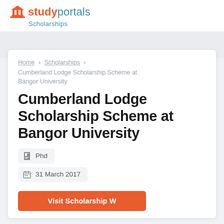studyportals Scholarships
Home › Scholarships › Cumberland Lodge Scholarship Scheme at Bangor University
Cumberland Lodge Scholarship Scheme at Bangor University
Phd
31 March 2017
Visit Scholarship Website